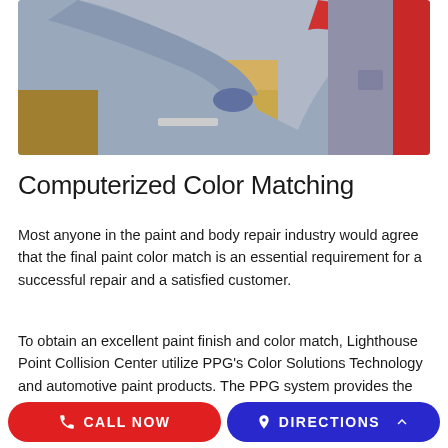[Figure (photo): Auto body technician in grey and red uniform working on a gold/tan colored vehicle, applying or inspecting paint near the wheel well area.]
Computerized Color Matching
Most anyone in the paint and body repair industry would agree that the final paint color match is an essential requirement for a successful repair and a satisfied customer.
To obtain an excellent paint finish and color match, Lighthouse Point Collision Center utilize PPG's Color Solutions Technology and automotive paint products. The PPG system provides the latest in
CALL NOW   DIRECTIONS